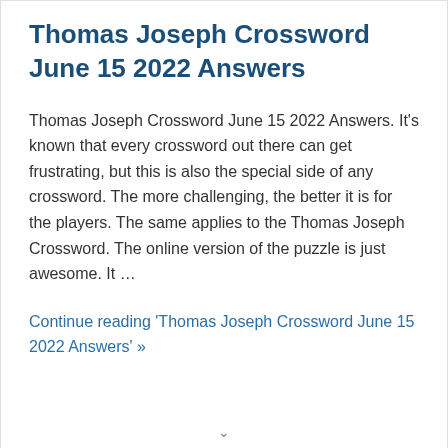Thomas Joseph Crossword June 15 2022 Answers
Thomas Joseph Crossword June 15 2022 Answers. It's known that every crossword out there can get frustrating, but this is also the special side of any crossword. The more challenging, the better it is for the players. The same applies to the Thomas Joseph Crossword. The online version of the puzzle is just awesome. It …
Continue reading 'Thomas Joseph Crossword June 15 2022 Answers' »